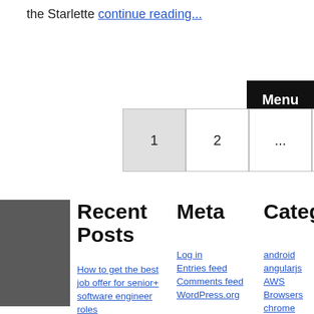the Starlette continue reading...
Menu
1
2
...
6
Next
Recent Posts
Meta
Categori
How to get the best job offer for senior+ software engineer roles
Log in
Entries feed
Comments feed
WordPress.org
android
angularjs
AWS
Browsers
chrome
CI
Cordova